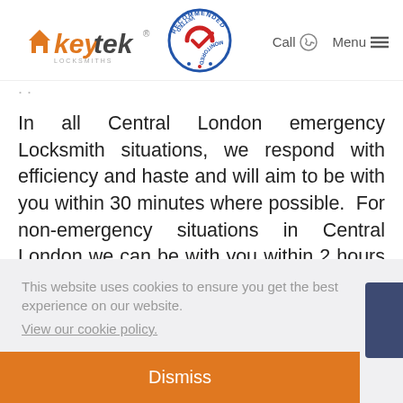[Figure (logo): Keytek Locksmiths logo with orange house icon and italic keytek text]
[Figure (logo): Recommended Vetted Monitored circular badge with blue border and red checkmark]
Call  Menu
In all Central London emergency Locksmith situations, we respond with efficiency and haste and will aim to be with you within 30 minutes where possible.  For non-emergency situations in Central London we can be with you within 2 hours or at a time and date that
This website uses cookies to ensure you get the best experience on our website.
View our cookie policy.
Dismiss